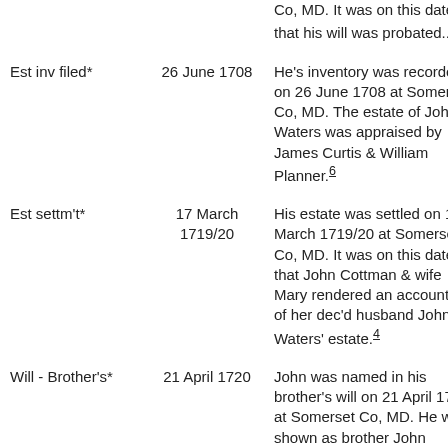| Event | Date | Description |
| --- | --- | --- |
|  |  | Co, MD. It was on this date that his will was probated.. 4,5 |
| Est inv filed* | 26 June 1708 | He's inventory was recorded on 26 June 1708 at Somerset Co, MD. The estate of John Waters was appraised by James Curtis & William Planner. 6 |
| Est settm't* | 17 March 1719/20 | His estate was settled on 17 March 1719/20 at Somerset Co, MD. It was on this date that John Cottman & wife Mary rendered an accounting of her dec'd husband John Waters' estate. 4 |
| Will - Brother's* | 21 April 1720 | John was named in his brother's will on 21 April 1720 at Somerset Co, MD. He was shown as brother John |